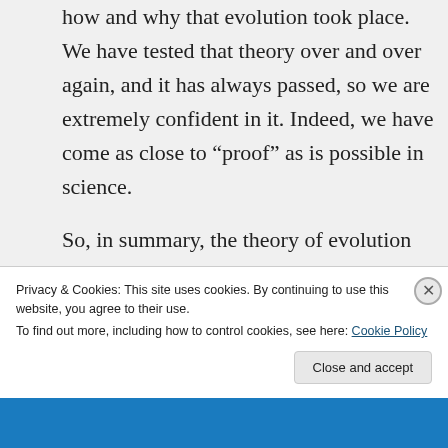how and why that evolution took place. We have tested that theory over and over again, and it has always passed, so we are extremely confident in it. Indeed, we have come as close to “proof” as is possible in science.

So, in summary, the theory of evolution by natural selection is not a theory because it hasn’t been proved, rather it is a theory simply
Privacy & Cookies: This site uses cookies. By continuing to use this website, you agree to their use.
To find out more, including how to control cookies, see here: Cookie Policy